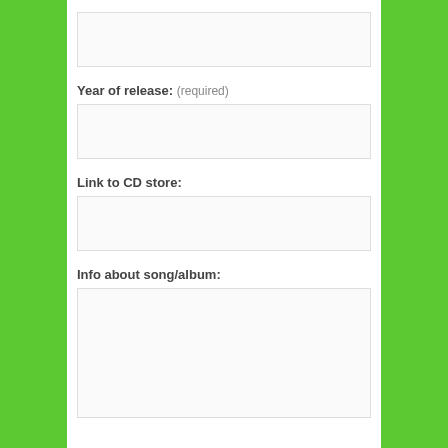(empty text input field at top)
Year of release: (required)
(empty text input field)
Link to CD store:
(empty text input field)
Info about song/album:
(empty text area field)